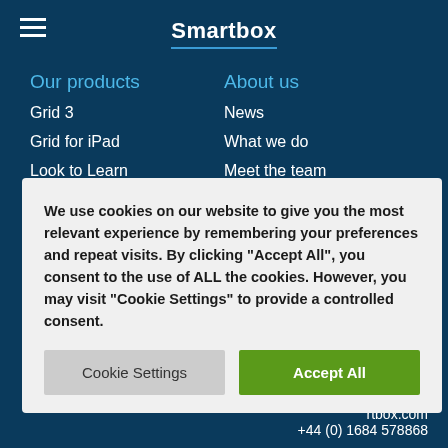Smartbox
Our products
Grid 3
Grid for iPad
Look to Learn
Grid Pad 12
Eye gaze
About us
News
What we do
Meet the team
User stories
Join the team
Events
We use cookies on our website to give you the most relevant experience by remembering your preferences and repeat visits. By clicking "Accept All", you consent to the use of ALL the cookies. However, you may visit "Cookie Settings" to provide a controlled consent.
Cookie Settings
Accept All
rtbox.com
+44 (0) 1684 578868